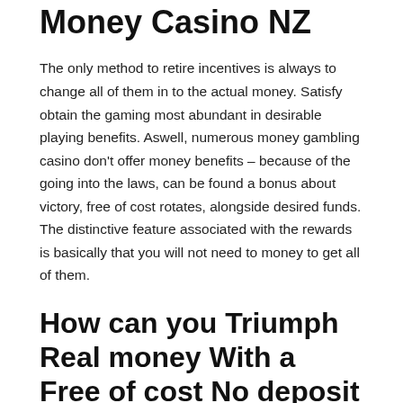Money Casino NZ
The only method to retire incentives is always to change all of them in to the actual money. Satisfy obtain the gaming most abundant in desirable playing benefits. Aswell, numerous money gambling casino don't offer money benefits – because of the going into the laws, can be found a bonus about victory, free of cost rotates, alongside desired funds. The distinctive feature associated with the rewards is basically that you will not need to money to get all of them.
How can you Triumph Real money With a Free of cost No deposit Excess?
Even with smaller debris your casino will make expense,